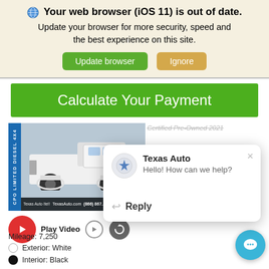Your web browser (iOS 11) is out of date. Update your browser for more security, speed and the best experience on this site. [Update browser] [Ignore]
Calculate Your Payment
[Figure (photo): White pickup truck (CPO Limited Diesel 4x4) in a dealership showroom with vertical blue label strip. Footer shows Texas Auto logo and phone (866) 867... Play Video button with red circle and outline circle icons.]
[Figure (screenshot): Chat popup overlay with Texas Auto logo avatar, bold heading 'Texas Auto', message 'Hello! How can we help?' and a Reply button with arrow icon and X close button.]
Certified Pre-Owned 2021
❷Details
Texas Auto Price
Mileage: 7,250
Exterior: White
Interior: Black